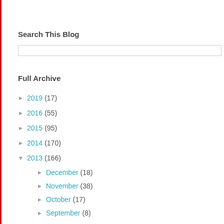Search This Blog
[search input box]
Full Archive
► 2019 (17)
► 2016 (55)
► 2015 (95)
► 2014 (170)
▼ 2013 (166)
► December (18)
► November (38)
► October (17)
► September (8)
► August (9)
► July (1)